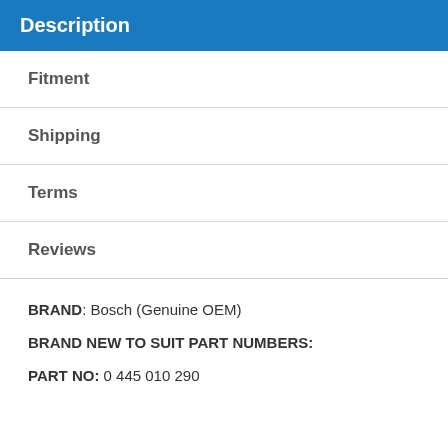Description
Fitment
Shipping
Terms
Reviews
BRAND: Bosch (Genuine OEM)
BRAND NEW TO SUIT PART NUMBERS:
PART NO: 0 445 010 290